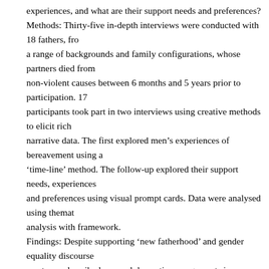experiences, and what are their support needs and preferences? Methods: Thirty-five in-depth interviews were conducted with 18 fathers, from a range of backgrounds and family configurations, whose partners died from non-violent causes between 6 months and 5 years prior to participation. 17 participants took part in two interviews using creative methods to elicit rich narrative data. The first explored men's experiences of bereavement using a 'time-line' method. The follow-up explored their support needs, experiences and preferences using visual prompt cards. Data were analysed using thematic analysis with framework. Findings: Despite supporting 'new fatherhood' and gender equality discourses, most men described unequal domestic arrangements in childcare and domestic work prior to bereavement. Fathers described significant role change when their partners' health deteriorated and following their death, the majority inherited the primary caregiver role for the first time. This major transition led to deconstruction of gender boundaries between home and workplace. Many fathers' public encounters alternatively brought heightened awareness of borders between gender roles, and perceived scrutiny. Findings show fathers felt their ability to cope as male primary caregivers was under question. They endorsed gender stereotypes around the supremacy of women as parents via